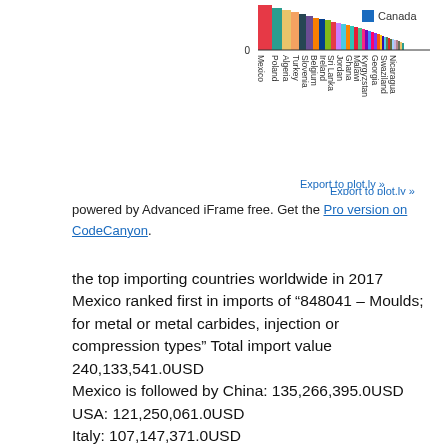[Figure (bar-chart): Horizontal bar chart showing import values by country, with Canada visible in legend and various countries shown on y-axis including Mexico, Poland, Algeria, Turkey, Slovenia, Belgium, Ireland, Sri Lanka, Jordan, Ghana, Malawi, Kyrgyzstan, Georgia, Swaziland, Nicaragua]
powered by Advanced iFrame free. Get the Pro version on CodeCanyon.
the top importing countries worldwide in 2017 Mexico ranked first in imports of “848041 – Moulds; for metal or metal carbides, injection or compression types” Total import value 240,133,541.0USD
Mexico is followed by China: 135,266,395.0USD
USA: 121,250,061.0USD
Italy: 107,147,371.0USD
Japan: 92,768,232.0USD and